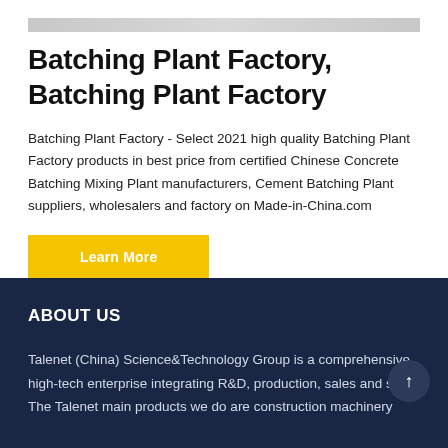Batching Plant Factory, Batching Plant Factory
Batching Plant Factory - Select 2021 high quality Batching Plant Factory products in best price from certified Chinese Concrete Batching Mixing Plant manufacturers, Cement Batching Plant suppliers, wholesalers and factory on Made-in-China.com
Learn More
ABOUT US
Talenet (China) Science&Technology Group is a comprehensive high-tech enterprise integrating R&D, production, sales and se... The Talenet main products we do are construction machinery...